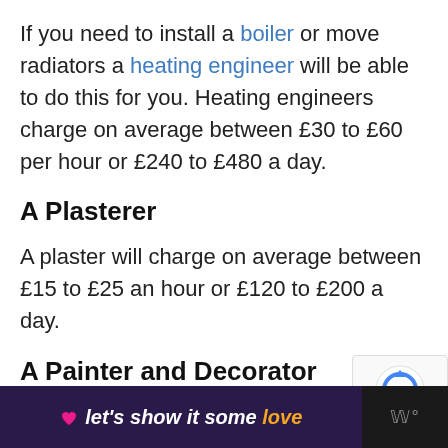If you need to install a boiler or move radiators a heating engineer will be able to do this for you. Heating engineers charge on average between £30 to £60 per hour or £240 to £480 a day.
A Plasterer
A plaster will charge on average between £15 to £25 an hour or £120 to £200 a day.
A Painter and Decorator
[Figure (other): reCAPTCHA badge with Privacy and Terms links]
let's show it some love